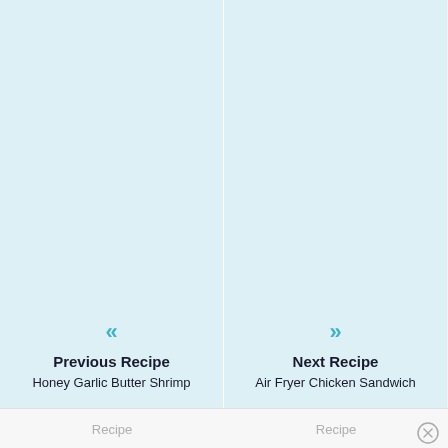[Figure (other): Left navigation panel with light blue background showing previous recipe navigation]
« Previous Recipe
Honey Garlic Butter Shrimp
[Figure (other): Right navigation panel with light blue background showing next recipe navigation]
» Next Recipe
Air Fryer Chicken Sandwich
Recipe    Recipe